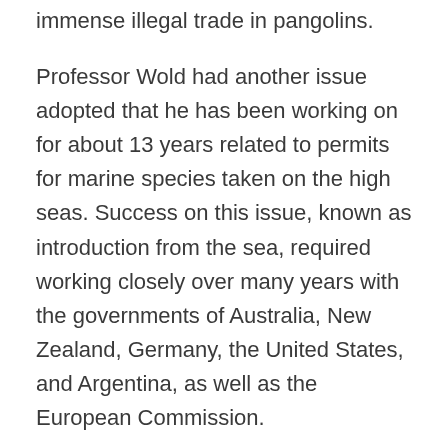immense illegal trade in pangolins.
Professor Wold had another issue adopted that he has been working on for about 13 years related to permits for marine species taken on the high seas. Success on this issue, known as introduction from the sea, required working closely over many years with the governments of Australia, New Zealand, Germany, the United States, and Argentina, as well as the European Commission.
All seven IELP students (including Ben Saver, Mandy Rude, and Michael Kearney), as well as Professors Lyman and Wold, provided advice to organizations and governments on the rules of